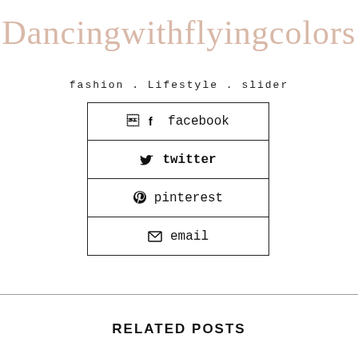Dancingwithflyingcolors
fashion . Lifestyle . slider
facebook
twitter
pinterest
email
RELATED POSTS